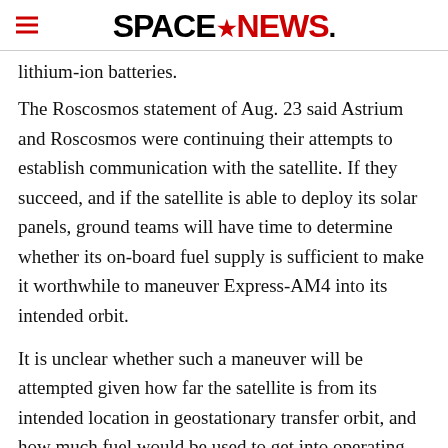SPACENEWS
lithium-ion batteries.
The Roscosmos statement of Aug. 23 said Astrium and Roscosmos were continuing their attempts to establish communication with the satellite. If they succeed, and if the satellite is able to deploy its solar panels, ground teams will have time to determine whether its on-board fuel supply is sufficient to make it worthwhile to maneuver Express-AM4 into its intended orbit.
It is unclear whether such a maneuver will be attempted given how far the satellite is from its intended location in geostationary transfer orbit, and how much fuel would be used to get into operating position in geostationary orbit 36,000 kilometers over the equator.
Roscosmos, confirming data provided Aug. 19 by U.S.